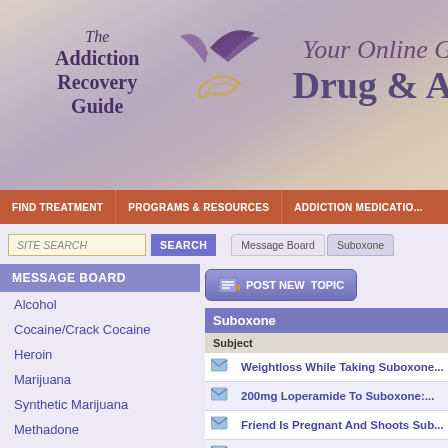[Figure (screenshot): The Addiction Recovery Guide website header banner with logo, bird graphic, and partial tagline 'Your Online G... Drug & A...']
FIND TREATMENT | PROGRAMS & RESOURCES | ADDICTION MEDICATIO...
SITE SEARCH | Message Board | Suboxone
MESSAGE BOARD
Alcohol
Cocaine/Crack Cocaine
Heroin
Marijuana
Synthetic Marijuana
Methadone
Methamphetamines
Nicotine
Pain Pills
| Subject |
| --- |
| Weightloss While Taking Suboxone... |
| 200mg Loperamide To Suboxone:... |
| Friend Is Pregnant And Shoots Sub... |
| ... |